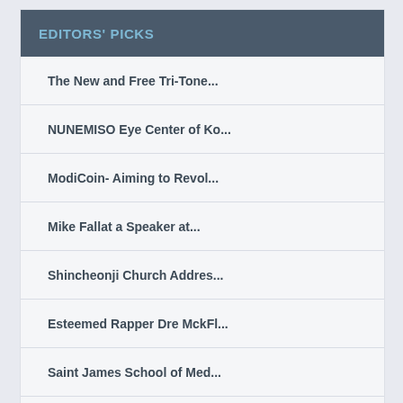EDITORS' PICKS
The New and Free Tri-Tone...
NUNEMISO Eye Center of Ko...
ModiCoin- Aiming to Revol...
Mike Fallat a Speaker at...
Shincheonji Church Addres...
Esteemed Rapper Dre MckFl...
Saint James School of Med...
The Silicon Review to fea...